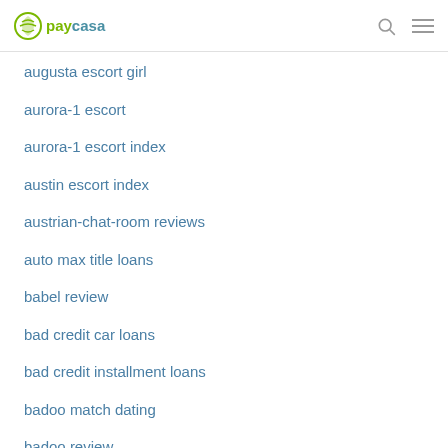paycasa
augusta escort girl
aurora-1 escort
aurora-1 escort index
austin escort index
austrian-chat-room reviews
auto max title loans
babel review
bad credit car loans
bad credit installment loans
badoo match dating
badoo review
badoo visitors